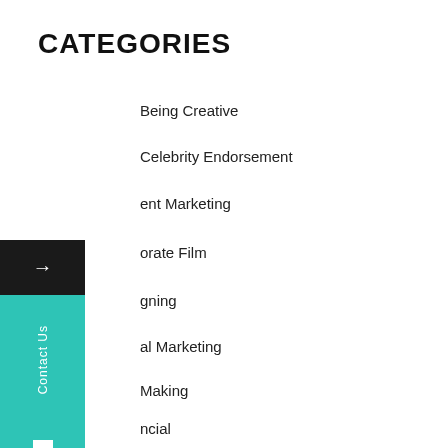CATEGORIES
Being Creative
Celebrity Endorsement
Content Marketing
Corporate Film
Designing
Digital Marketing
Film Making
Financial
Marketing
Influencer Marketing
Marketing
Marketing Strategy